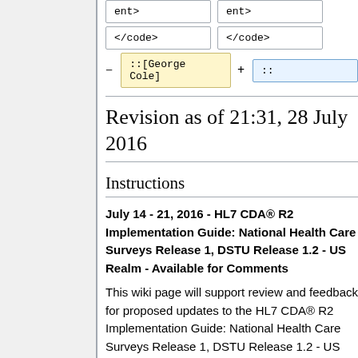| ent> | ent> |
| </code> | </code> |
| - ::[George Cole] | + :: |
Revision as of 21:31, 28 July 2016
Instructions
July 14 - 21, 2016 - HL7 CDA® R2 Implementation Guide: National Health Care Surveys Release 1, DSTU Release 1.2 - US Realm - Available for Comments
This wiki page will support review and feedback for proposed updates to the HL7 CDA® R2 Implementation Guide: National Health Care Surveys Release 1, DSTU Release 1.2 - US Realm. This